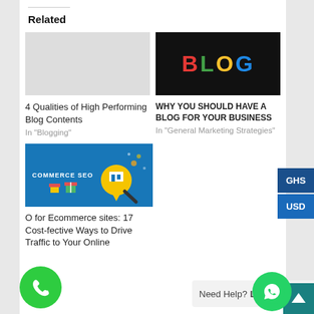Related
[Figure (illustration): No image placeholder for first card (4 Qualities of High Performing Blog Contents)]
[Figure (photo): Colorful BLOG text on dark background — letters in red, green, yellow, blue]
4 Qualities of High Performing Blog Contents
In "Blogging"
WHY YOU SHOULD HAVE A BLOG FOR YOUR BUSINESS
In "General Marketing Strategies"
[Figure (illustration): Commerce SEO graphic with map pin and shopping store icon on blue background]
O for Ecommerce sites: 17 Cost-fective Ways to Drive Traffic to Your Online
Need Help? Let's Chat
[Figure (illustration): Green phone button circle icon on left]
[Figure (illustration): WhatsApp green circle icon on right]
[Figure (illustration): Teal square box bottom right corner]
GHS
USD